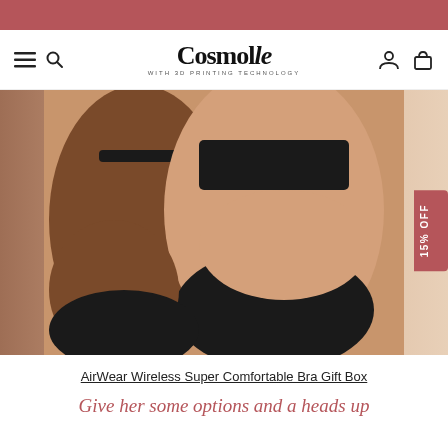[Figure (screenshot): Top rose/mauve colored banner bar]
Cosmolle WITH 3D PRINTING TECHNOLOGY
[Figure (photo): Two models wearing black wireless bras and underwear against a neutral background]
15% OFF
AirWear Wireless Super Comfortable Bra Gift Box
Give her some options and a heads up